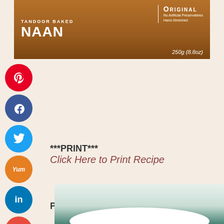[Figure (photo): Tandoor Baked Naan Original package box, brown/orange color, showing text: TANDOOR BAKED, NAAN, Original, No Artificial Preservatives, Hand-Stretched, 250g (8.8oz)]
[Figure (infographic): Social media sharing buttons: Pinterest (red), Facebook (dark blue), Twitter (light blue), Yummly (orange), LinkedIn (blue), Reddit (red-orange), WhatsApp (green) - all circular icons in a vertical column on the left side]
***PRINT***
Click Here to Print Recipe
Pin Me!
[Figure (photo): Bottom portion of a white bowl containing what appears to be a light-colored soup or sauce, with a teal/dark green background]